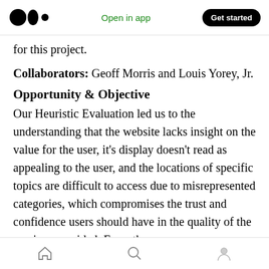Medium logo | Open in app | Get started
for this project.
Collaborators: Geoff Morris and Louis Yorey, Jr.
Opportunity & Objective
Our Heuristic Evaluation led us to the understanding that the website lacks insight on the value for the user, it’s display doesn’t read as appealing to the user, and the locations of specific topics are difficult to access due to misrepresented categories, which compromises the trust and confidence users should have in the quality of the services provided. From these
Home | Search | Profile